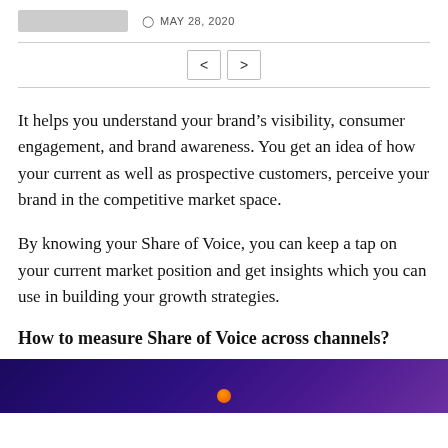MAY 28, 2020
[Figure (other): Navigation arrows (previous/next) between horizontal rules]
It helps you understand your brand’s visibility, consumer engagement, and brand awareness. You get an idea of how your current as well as prospective customers, perceive your brand in the competitive market space.
By knowing your Share of Voice, you can keep a tap on your current market position and get insights which you can use in building your growth strategies.
How to measure Share of Voice across channels?
[Figure (photo): Dark purple/blue gradient background image strip at the bottom of the page]